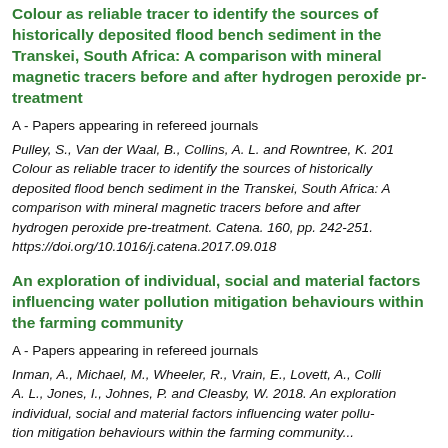Colour as reliable tracer to identify the sources of historically deposited flood bench sediment in the Transkei, South Africa: A comparison with mineral magnetic tracers before and after hydrogen peroxide pre-treatment
A - Papers appearing in refereed journals
Pulley, S., Van der Waal, B., Collins, A. L. and Rowntree, K. 2018. Colour as reliable tracer to identify the sources of historically deposited flood bench sediment in the Transkei, South Africa: A comparison with mineral magnetic tracers before and after hydrogen peroxide pre-treatment. Catena. 160, pp. 242-251. https://doi.org/10.1016/j.catena.2017.09.018
An exploration of individual, social and material factors influencing water pollution mitigation behaviours within the farming community
A - Papers appearing in refereed journals
Inman, A., Michael, M., Wheeler, R., Vrain, E., Lovett, A., Collins, A. L., Jones, I., Johnes, P. and Cleasby, W. 2018. An exploration of individual, social and material factors influencing water pollution mitigation behaviours within the farming community...